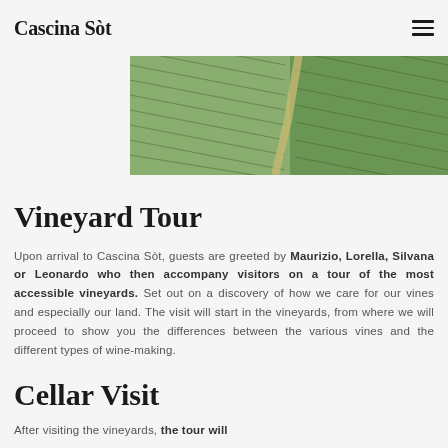Cascina Sòt
[Figure (photo): Aerial view of vineyard rows with green crops and a path, taken from above]
Vineyard Tour
Upon arrival to Cascina Sòt, guests are greeted by Maurizio, Lorella, Silvana or Leonardo who then accompany visitors on a tour of the most accessible vineyards. Set out on a discovery of how we care for our vines and especially our land. The visit will start in the vineyards, from where we will proceed to show you the differences between the various vines and the different types of wine-making.
Cellar Visit
After visiting the vineyards, the tour will